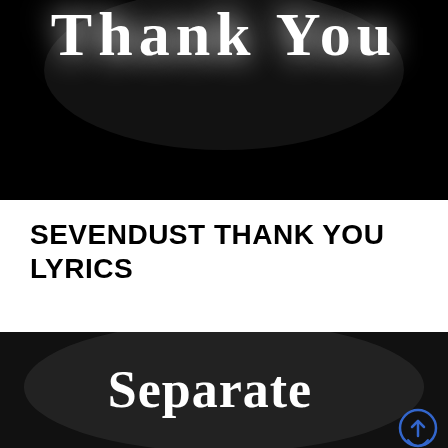[Figure (screenshot): Dark/black background image with white decorative serif text reading 'Thank You' partially visible at top, with glowing light effect behind text]
SEVENDUST THANK YOU LYRICS
[Figure (screenshot): Dark/black background image with white decorative serif text reading 'Separate' centered, with subtle gray radial glow behind text; small blue circular arrow/back-to-top icon visible in bottom right corner]